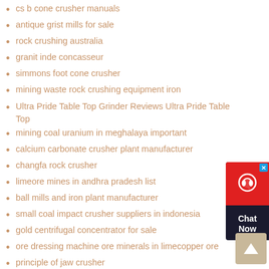cs b cone crusher manuals
antique grist mills for sale
rock crushing australia
granit inde concasseur
simmons foot cone crusher
mining waste rock crushing equipment iron
Ultra Pride Table Top Grinder Reviews Ultra Pride Table Top
mining coal uranium in meghalaya important
calcium carbonate crusher plant manufacturer
changfa rock crusher
limeore mines in andhra pradesh list
ball mills and iron plant manufacturer
small coal impact crusher suppliers in indonesia
gold centrifugal concentrator for sale
ore dressing machine ore minerals in limecopper ore
principle of jaw crusher
secoskd crusher stone machine johannesburg
of business of concrete mixture and crusher
gold mining slurry
whar is the attari builder stone crusher in pakistan
[Figure (infographic): Chat Now widget with red background, headset icon, and dark background with Chat Now text]